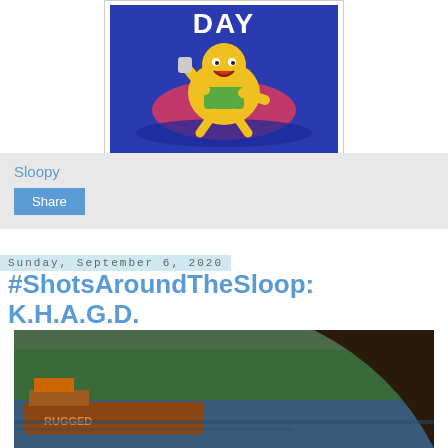[Figure (illustration): Cartoon illustration of a yellow character floating on a pink raft in water, with text 'DAY' visible at the top, blue background]
Sloopy
Share
Sunday, September 6, 2020
#ShotsAroundTheSloop: K.H.A.G.D.
[Figure (photo): Photograph of a waterway with a barge or boat on the left and a large dark curved structure (possibly a bridge or hull) on the right, with trees in the background]